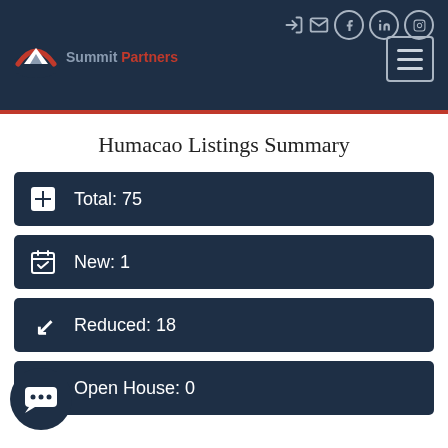Summit Partners - Navigation Header
Humacao Listings Summary
Total: 75
New: 1
Reduced: 18
Open House: 0